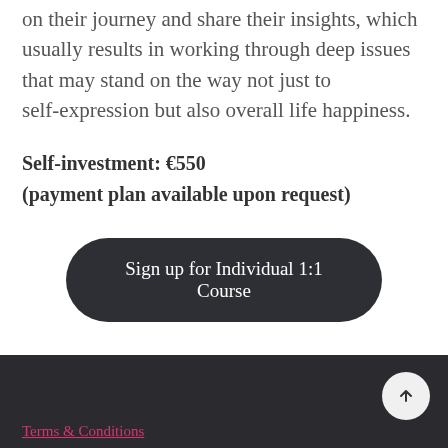on their journey and share their insights, which usually results in working through deep issues that may stand on the way not just to self-expression but also overall life happiness.
Self-investment: €550
(payment plan available upon request)
Sign up for Individual 1:1 Course
Terms & Conditions